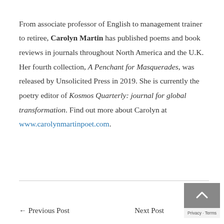From associate professor of English to management trainer to retiree, Carolyn Martin has published poems and book reviews in journals throughout North America and the U.K. Her fourth collection, A Penchant for Masquerades, was released by Unsolicited Press in 2019. She is currently the poetry editor of Kosmos Quarterly: journal for global transformation. Find out more about Carolyn at www.carolynmartinpoet.com.
← Previous Post   Next Post